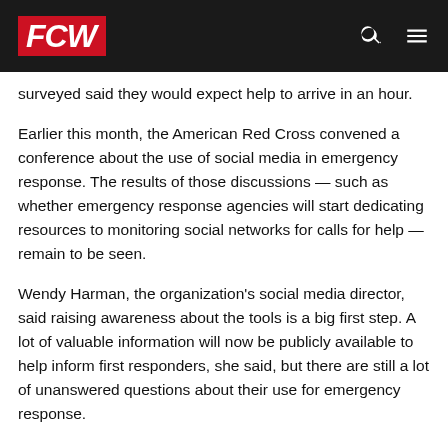FCW
surveyed said they would expect help to arrive in an hour.
Earlier this month, the American Red Cross convened a conference about the use of social media in emergency response. The results of those discussions — such as whether emergency response agencies will start dedicating resources to monitoring social networks for calls for help — remain to be seen.
Wendy Harman, the organization's social media director, said raising awareness about the tools is a big first step. A lot of valuable information will now be publicly available to help inform first responders, she said, but there are still a lot of unanswered questions about their use for emergency response.
“I think there’s room right now because of the evolution of our culture that we can add in this public element and [it] can provide value, but we still have to be careful in how we implement it,”